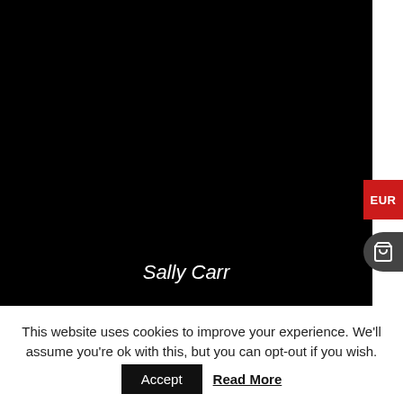[Figure (photo): Large black image area with italic white text 'Sally Carr' at the bottom center. A red 'EUR' badge appears on the right edge and a dark circular cart button below it.]
This website uses cookies to improve your experience. We'll assume you're ok with this, but you can opt-out if you wish.
Accept   Read More